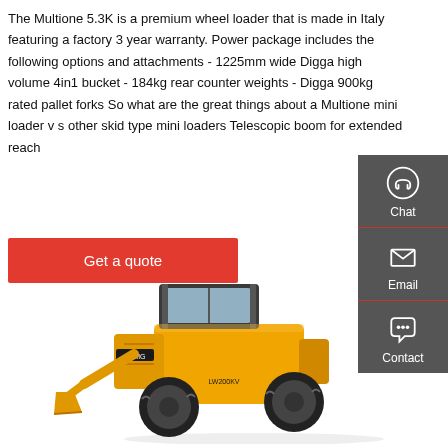The Multione 5.3K is a premium wheel loader that is made in Italy featuring a factory 3 year warranty. Power package includes the following options and attachments - 1225mm wide Digga high volume 4in1 bucket - 184kg rear counter weights - Digga 900kg rated pallet forks So what are the great things about a Multione mini loader v s other skid type mini loaders Telescopic boom for extended reach
Get a quote
[Figure (other): Chat, Email, and Contact sidebar widget with icons on dark grey background]
[Figure (photo): Yellow wheel loader / compact front loader machine (LW200KV) photographed on white background]